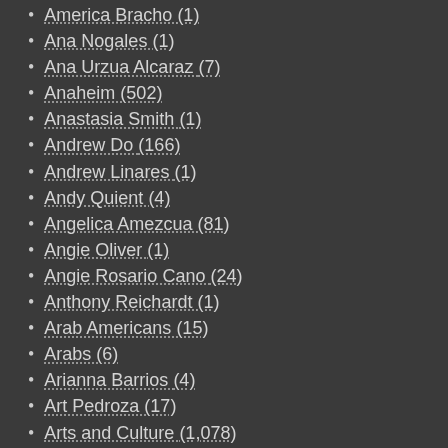America Bracho (1)
Ana Nogales (1)
Ana Urzua Alcaraz (7)
Anaheim (502)
Anastasia Smith (1)
Andrew Do (166)
Andrew Linares (1)
Andy Quient (4)
Angelica Amezcua (81)
Angie Oliver (1)
Angie Rosario Cano (24)
Anthony Reichardt (1)
Arab Americans (15)
Arabs (6)
Arianna Barrios (4)
Art Pedroza (17)
Arts and Culture (1,078)
Asians (65)
Attorney General Candidates (1)
Audrey Noji (4)
Autism (3)
automobiles (137)
Ballot Measures (23)